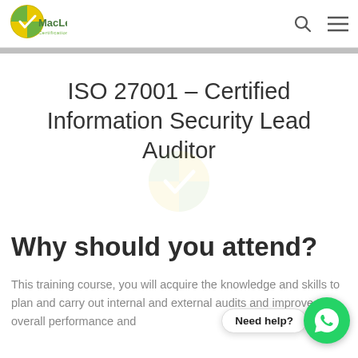[Figure (logo): MacLead Certifications logo — circular emblem with yellow/green colors and a checkmark, with 'MacLead Certifications' text]
ISO 27001 – Certified Information Security Lead Auditor
Why should you attend?
This training course, you will acquire the knowledge and skills to plan and carry out internal and external audits and improve the overall performance and